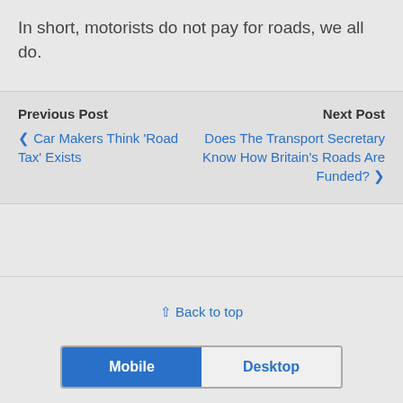In short, motorists do not pay for roads, we all do.
Previous Post
Next Post
‹ Car Makers Think 'Road Tax' Exists
Does The Transport Secretary Know How Britain's Roads Are Funded? ›
⇑ Back to top
Mobile | Desktop